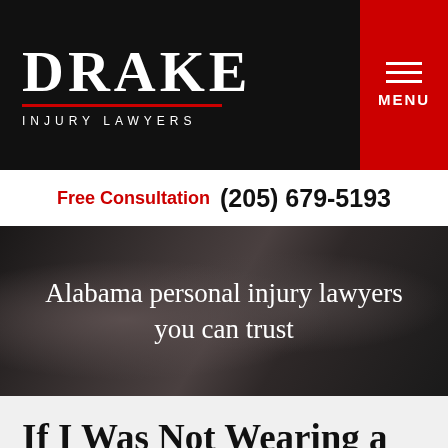DRAKE INJURY LAWYERS
Free Consultation (205) 679-5193
[Figure (photo): Two professionals (lawyers) standing in front of a glass building, overlaid with the text: Alabama personal injury lawyers you can trust]
If I Was Not Wearing a Seatbelt, Can I Still Recover Damages in a Car Crash?